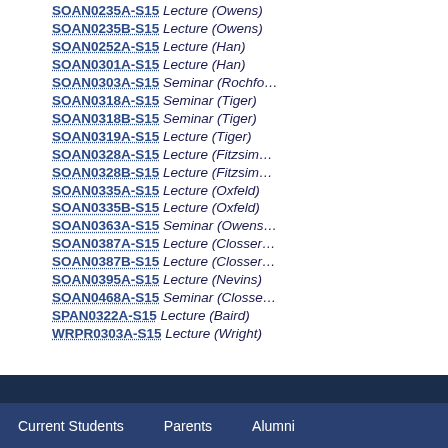SOAN0235A-S15 Lecture (Owens)
SOAN0235B-S15 Lecture (Owens)
SOAN0252A-S15 Lecture (Han)
SOAN0301A-S15 Lecture (Han)
SOAN0303A-S15 Seminar (Rochfo…)
SOAN0318A-S15 Seminar (Tiger)
SOAN0318B-S15 Seminar (Tiger)
SOAN0319A-S15 Lecture (Tiger)
SOAN0328A-S15 Lecture (Fitzsimm…)
SOAN0328B-S15 Lecture (Fitzsimm…)
SOAN0335A-S15 Lecture (Oxfeld)
SOAN0335B-S15 Lecture (Oxfeld)
SOAN0363A-S15 Seminar (Owens…)
SOAN0387A-S15 Lecture (Closser…)
SOAN0387B-S15 Lecture (Closser…)
SOAN0395A-S15 Lecture (Nevins)
SOAN0468A-S15 Seminar (Closse…)
SPAN0322A-S15 Lecture (Baird)
WRPR0303A-S15 Lecture (Wright)
Current Students   Parents   Alumni